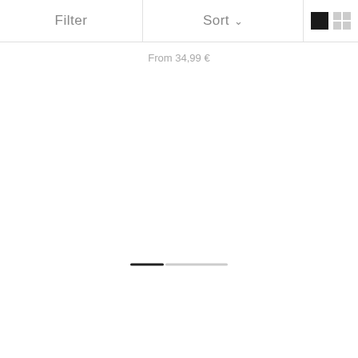Filter   Sort   [view icons]
From 34,99 €
[Figure (other): A horizontal progress/pagination bar with a short dark filled segment on the left and a longer light gray segment on the right, indicating a scroll or pagination position.]